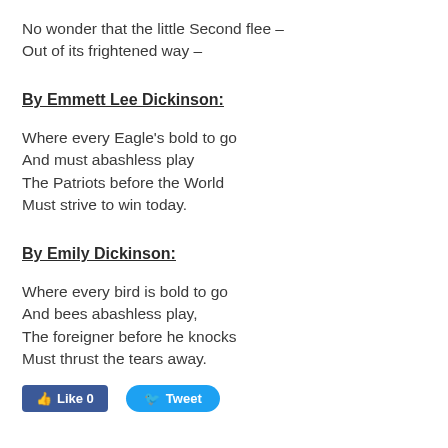No wonder that the little Second flee –
Out of its frightened way –
By Emmett Lee Dickinson:
Where every Eagle's bold to go
And must abashless play
The Patriots before the World
Must strive to win today.
By Emily Dickinson:
Where every bird is bold to go
And bees abashless play,
The foreigner before he knocks
Must thrust the tears away.